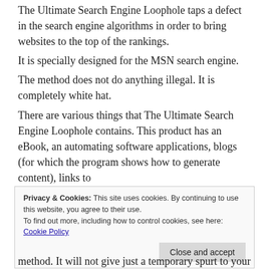The Ultimate Search Engine Loophole taps a defect in the search engine algorithms in order to bring websites to the top of the rankings.
It is specially designed for the MSN search engine.
The method does not do anything illegal. It is completely white hat.
There are various things that The Ultimate Search Engine Loophole contains. This product has an eBook, an automating software applications, blogs (for which the program shows how to generate content), links to
Privacy & Cookies: This site uses cookies. By continuing to use this website, you agree to their use. To find out more, including how to control cookies, see here: Cookie Policy
method. It will not give just a temporary spurt to your